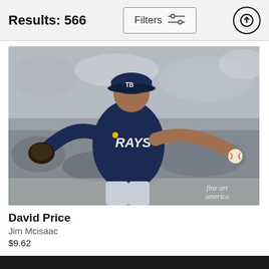Results: 566
[Figure (photo): Tampa Bay Rays pitcher David Price in throwing motion, wearing dark navy uniform with 'RAYS' lettering and TB cap, winding up to pitch a baseball. Blurred stadium crowd in background. Fine Art America watermark in lower right.]
David Price
Jim Mcisaac
$9.62